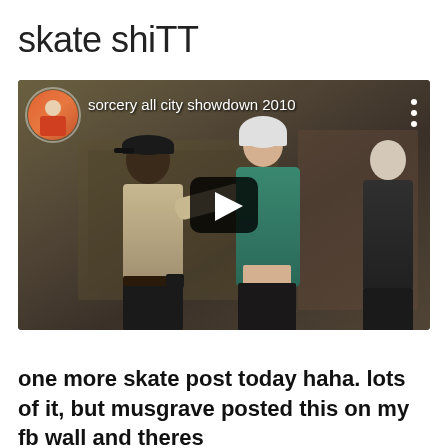skate shiTT
[Figure (screenshot): YouTube video thumbnail showing a security guard confronting a teenager in a green hoodie and skate helmet against a wall, with another person visible on the right. Channel avatar visible top-left. Video title overlay reads 'sorcery all city showdown 2010'. A play button is centered on the thumbnail. Three-dot menu icon visible top-right.]
one more skate post today haha. lots of it, but musgrave posted this on my fb wall and theres